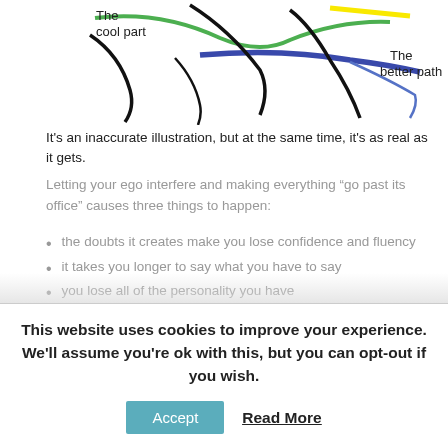[Figure (illustration): Hand-drawn style diagram showing colored paths/lines representing 'The cool part' (green line, labeled top-left) and 'The better path' (blue line, labeled right), along with black curvy lines and a yellow line, suggesting different routes or approaches.]
It's an inaccurate illustration, but at the same time, it's as real as it gets.
Letting your ego interfere and making everything “go past its office” causes three things to happen:
the doubts it creates make you lose confidence and fluency
it takes you longer to say what you have to say
you lose all of the personality you have
This website uses cookies to improve your experience. We'll assume you're ok with this, but you can opt-out if you wish.